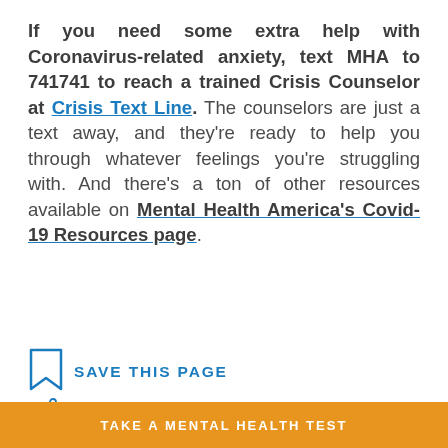If you need some extra help with Coronavirus-related anxiety, text MHA to 741741 to reach a trained Crisis Counselor at Crisis Text Line. The counselors are just a text away, and they're ready to help you through whatever feelings you're struggling with. And there's a ton of other resources available on Mental Health America's Covid-19 Resources page.
SAVE THIS PAGE
TAKE A MENTAL HEALTH TEST